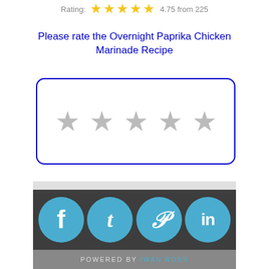Rating: 4.75 from 225
Please rate the Overnight Paprika Chicken Marinade Recipe
[Figure (other): Empty 5-star rating widget with gray stars inside a blue rounded border box]
[Figure (infographic): Social media sharing banner with Facebook (f), Tumblr (t), Pinterest (p), and LinkedIn (in) icons as blue circles on dark background, with 'POWERED BY IWAN ROSS' footer]